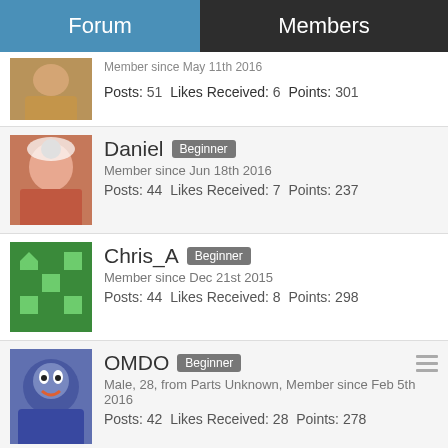Forum | Members
Member since May 11th 2016
Posts: 51  Likes Received: 6  Points: 301
Daniel Beginner
Member since Jun 18th 2016
Posts: 44  Likes Received: 7  Points: 237
Chris_A Beginner
Member since Dec 21st 2015
Posts: 44  Likes Received: 8  Points: 298
OMDO Beginner
Male, 28, from Parts Unknown, Member since Feb 5th 2016
Posts: 42  Likes Received: 28  Points: 278
Page 1 of 9
Privacy Policy
Forum Software: Burning Board® 4.1.21, developed by WoltLab® GmbH
Design by: WBB Styles